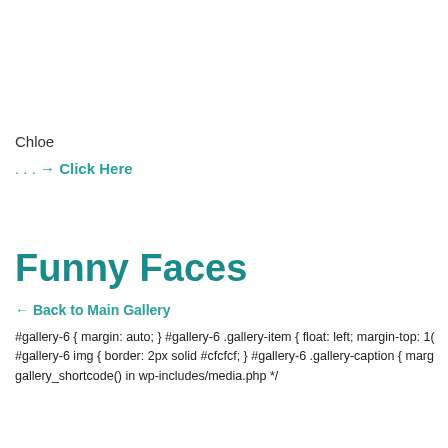Chloe
. . . → Click Here
Funny Faces
← Back to Main Gallery
#gallery-6 { margin: auto; } #gallery-6 .gallery-item { float: left; margin-top: 10 #gallery-6 img { border: 2px solid #cfcfcf; } #gallery-6 .gallery-caption { marg gallery_shortcode() in wp-includes/media.php */